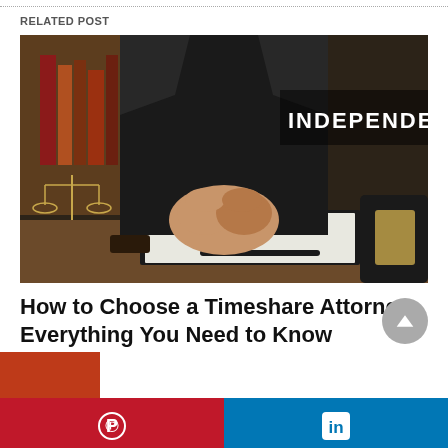RELATED POST
[Figure (photo): A lawyer sitting at a desk with clasped hands, a legal pad, pen, gavel, and scales of justice in the background. Text overlay reads 'INDEPENDE...']
How to Choose a Timeshare Attorney: Everything You Need to Know
[Figure (photo): Partial image of next related article thumbnail, red/orange color]
Pinterest | LinkedIn social share bar